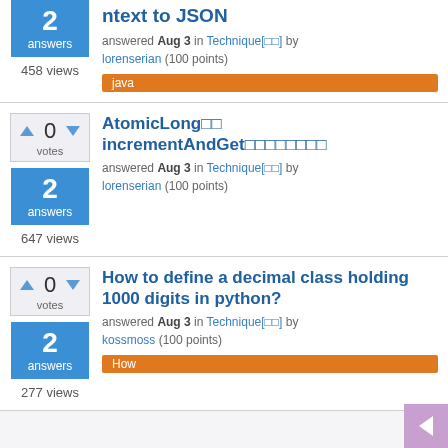ntext to JSON — answered Aug 3 in Technique by lorenserian (100 points) — java — 458 views — 2 answers
AtomicLong incrementAndGet — answered Aug 3 in Technique by lorenserian (100 points) — 647 views — 2 answers
How to define a decimal class holding 1000 digits in python? — answered Aug 3 in Technique by kossmoss (100 points) — How — 277 views — 2 answers